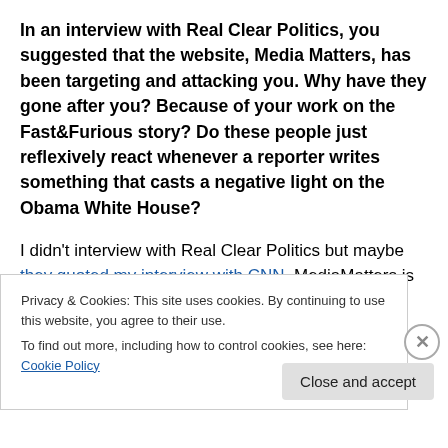In an interview with Real Clear Politics, you suggested that the website, Media Matters, has been targeting and attacking you. Why have they gone after you? Because of your work on the Fast&Furious story? Do these people just reflexively react whenever a reporter writes something that casts a negative light on the Obama White House?
I didn't interview with Real Clear Politics but maybe they quoted my interview with CNN. MediaMatters is well
Privacy & Cookies: This site uses cookies. By continuing to use this website, you agree to their use.
To find out more, including how to control cookies, see here: Cookie Policy